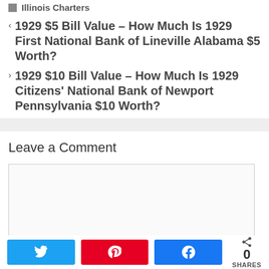Illinois Charters
1929 $5 Bill Value – How Much Is 1929 First National Bank of Lineville Alabama $5 Worth?
1929 $10 Bill Value – How Much Is 1929 Citizens' National Bank of Newport Pennsylvania $10 Worth?
Leave a Comment
[Comment text area]
0 SHARES